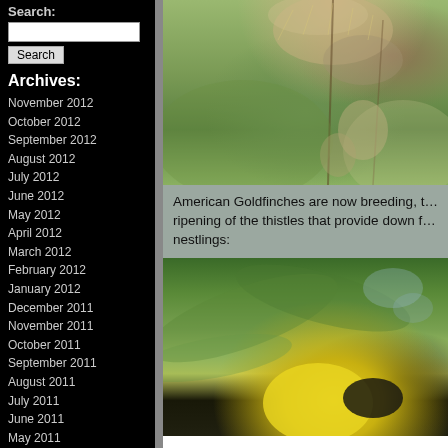Search:
Archives:
November 2012
October 2012
September 2012
August 2012
July 2012
June 2012
May 2012
April 2012
March 2012
February 2012
January 2012
December 2011
November 2011
October 2011
September 2011
August 2011
July 2011
June 2011
May 2011
April 2011
March 2011
[Figure (photo): Close-up of thistle seed head with dried fluffy seeds and plant stems, green blurred background]
American Goldfinches are now breeding, t… ripening of the thistles that provide down f… nestlings:
[Figure (photo): American Goldfinch bird with bright yellow body and black wing visible among green foliage]